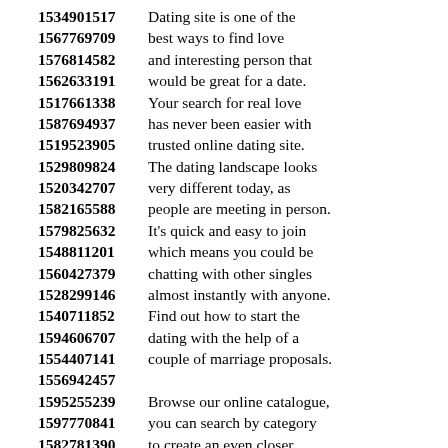1534901517  Dating site is one of the
1567769709  best ways to find love
1576814582  and interesting person that
1562633191  would be great for a date.
1517661338  Your search for real love
1587694937  has never been easier with
1519523905  trusted online dating site.
1529809824  The dating landscape looks
1520342707  very different today, as
1582165588  people are meeting in person.
1579825632  It's quick and easy to join
1548811201  which means you could be
1560427379  chatting with other singles
1528299146  almost instantly with anyone.
1540711852  Find out how to start the
1594606707  dating with the help of a
1554407141  couple of marriage proposals.
1556942457
1595255239  Browse our online catalogue,
1597770841  you can search by category
1582781390  to create an even closer
1576640598  connection with the beauties.
1597254774  Chat online with strangers
1576448210  in your local area using the
1585366477  search function as an example